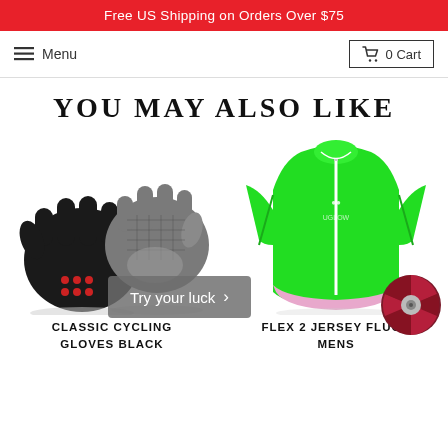Free US Shipping on Orders Over $75
≡ Menu   🛒 0 Cart
YOU MAY ALSO LIKE
[Figure (photo): Two black and grey fingerless cycling gloves shown from front and back]
CLASSIC CYCLING GLOVES BLACK
[Figure (photo): Bright neon green short-sleeve cycling jersey with white zipper front]
FLEX 2 JERSEY FLUO - MENS
Try your luck